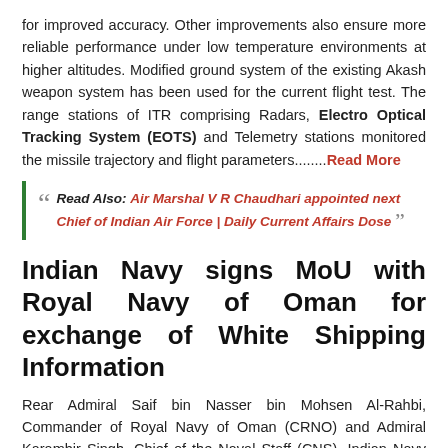for improved accuracy. Other improvements also ensure more reliable performance under low temperature environments at higher altitudes. Modified ground system of the existing Akash weapon system has been used for the current flight test. The range stations of ITR comprising Radars, Electro Optical Tracking System (EOTS) and Telemetry stations monitored the missile trajectory and flight parameters........Read More
Read Also: Air Marshal V R Chaudhari appointed next Chief of Indian Air Force | Daily Current Affairs Dose
Indian Navy signs MoU with Royal Navy of Oman for exchange of White Shipping Information
Rear Admiral Saif bin Nasser bin Mohsen Al-Rahbi, Commander of Royal Navy of Oman (CRNO) and Admiral Karambir Singh, Chief of the Naval Staff (CNS), Indian Navy signed an MoU for exchange of White Shipping Information On 27 September 2021. The MoU was signed at Maritime Security Center (MSC), Muscat during the